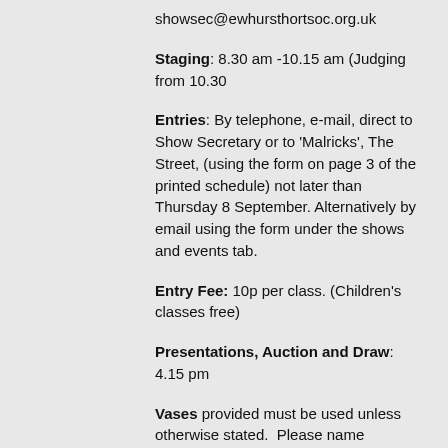showsec@ewhursthortsoc.org.uk
Staging: 8.30 am -10.15 am (Judging from 10.30
Entries: By telephone, e-mail, direct to Show Secretary or to 'Malricks', The Street, (using the form on page 3 of the printed schedule) not later than Thursday 8 September. Alternatively by email using the form under the shows and events tab.
Entry Fee: 10p per class. (Children's classes free)
Presentations, Auction and Draw: 4.15 pm
Vases provided must be used unless otherwise stated. Please name varieties if possible.
Prizes: First: £1.00; Second: 75p; Third: 50p